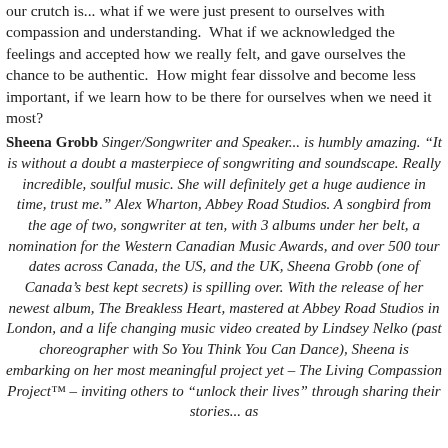our crutch is... what if we were just present to ourselves with compassion and understanding.  What if we acknowledged the feelings and accepted how we really felt, and gave ourselves the chance to be authentic.  How might fear dissolve and become less important, if we learn how to be there for ourselves when we need it most?
Sheena Grobb Singer/Songwriter and Speaker... is humbly amazing. "It is without a doubt a masterpiece of songwriting and soundscape. Really incredible, soulful music. She will definitely get a huge audience in time, trust me." Alex Wharton, Abbey Road Studios. A songbird from the age of two, songwriter at ten, with 3 albums under her belt, a nomination for the Western Canadian Music Awards, and over 500 tour dates across Canada, the US, and the UK, Sheena Grobb (one of Canada's best kept secrets) is spilling over. With the release of her newest album, The Breakless Heart, mastered at Abbey Road Studios in London, and a life changing music video created by Lindsey Nelko (past choreographer with So You Think You Can Dance), Sheena is embarking on her most meaningful project yet – The Living Compassion Project™ – inviting others to "unlock their lives" through sharing their stories... as